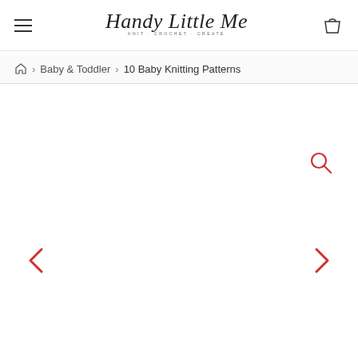Handy Little Me — KNIT · CROCHET · CREATE
☰ (hamburger menu) | Handy Little Me logo | shopping bag icon
🏠 > Baby & Toddler > 10 Baby Knitting Patterns
[Figure (other): Search icon (magnifying glass) in red/coral color]
[Figure (other): Left navigation chevron arrow in red/coral color]
[Figure (other): Right navigation chevron arrow in red/coral color]